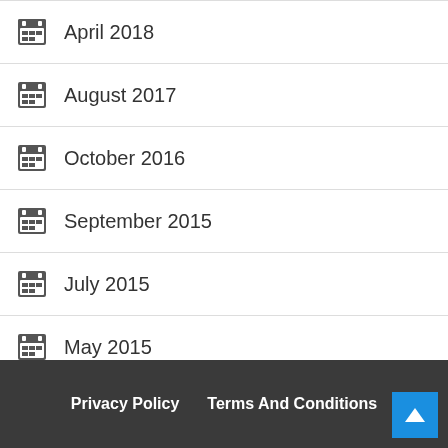April 2018
August 2017
October 2016
September 2015
July 2015
May 2015
February 2015
November 2013
October 2013
Privacy Policy   Terms And Conditions